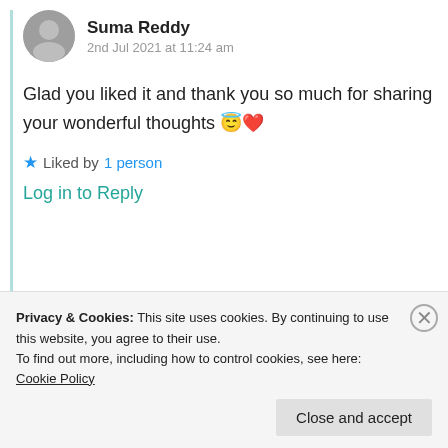Suma Reddy
2nd Jul 2021 at 11:24 am
Glad you liked it and thank you so much for sharing your wonderful thoughts 😇❤️
★ Liked by 1 person
Log in to Reply
Privacy & Cookies: This site uses cookies. By continuing to use this website, you agree to their use. To find out more, including how to control cookies, see here: Cookie Policy
Close and accept